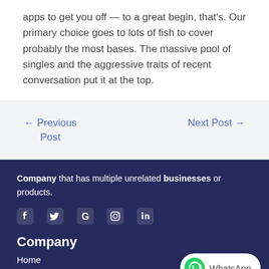apps to get you off — to a great begin, that's. Our primary choice goes to lots of fish to cover probably the most bases. The massive pool of singles and the aggressive traits of recent conversation put it at the top.
← Previous Post
Next Post →
Company that has multiple unrelated businesses or products.
[Figure (illustration): Social media icons: Facebook, Twitter, Google, Instagram, LinkedIn]
Company
Home
[Figure (other): WhatsApp button with green WhatsApp logo and text 'WhatsApp']